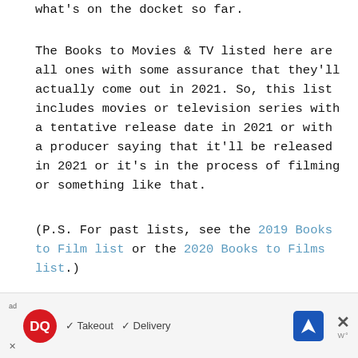what's on the docket so far.
The Books to Movies & TV listed here are all ones with some assurance that they'll actually come out in 2021. So, this list includes movies or television series with a tentative release date in 2021 or with a producer saying that it'll be released in 2021 or it's in the process of filming or something like that.
(P.S. For past lists, see the 2019 Books to Film list or the 2020 Books to Films list.)
Which one of these books to movie or tv show
[Figure (other): Dairy Queen advertisement banner with DQ logo, checkmarks for Takeout and Delivery, a navigation/directions icon, and a close (X) button with 'w' label]